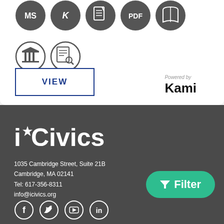[Figure (other): Row of circular icons for MS, R, document, PDF, and book]
[Figure (other): Row of circular icons for institution/column and document search]
[Figure (other): VIEW button with blue border]
[Figure (logo): Powered by Kami logo]
[Figure (logo): iCivics logo in white on dark background]
1035 Cambridge Street, Suite 21B
Cambridge, MA 02141
Tel: 617-356-8311
info@icivics.org
[Figure (other): Green Filter button with funnel icon]
[Figure (other): Social media icons: Facebook, Twitter, YouTube, LinkedIn]